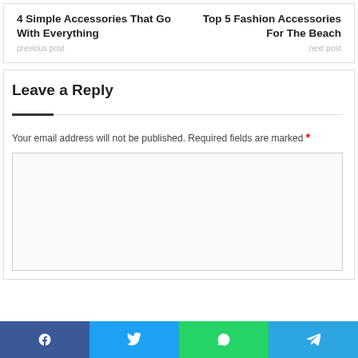4 Simple Accessories That Go With Everything
Top 5 Fashion Accessories For The Beach
Leave a Reply
Your email address will not be published. Required fields are marked *
[Figure (other): Comment text area input box]
Social share bar: Facebook, Twitter, WhatsApp, Telegram